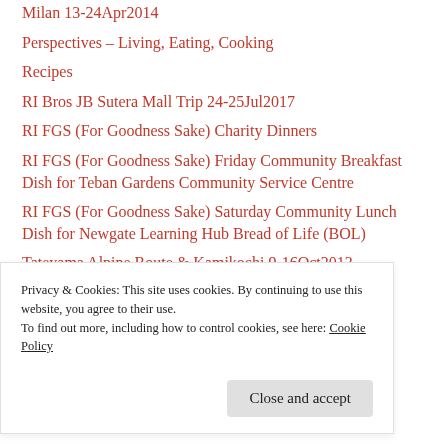Milan 13-24Apr2014
Perspectives – Living, Eating, Cooking
Recipes
RI Bros JB Sutera Mall Trip 24-25Jul2017
RI FGS (For Goodness Sake) Charity Dinners
RI FGS (For Goodness Sake) Friday Community Breakfast Dish for Teban Gardens Community Service Centre
RI FGS (For Goodness Sake) Saturday Community Lunch Dish for Newgate Learning Hub Bread of Life (BOL)
Tateyama Alpine Route & Kamikochi 9-16Oct2013
Privacy & Cookies: This site uses cookies. By continuing to use this website, you agree to their use.
To find out more, including how to control cookies, see here: Cookie Policy
Close and accept